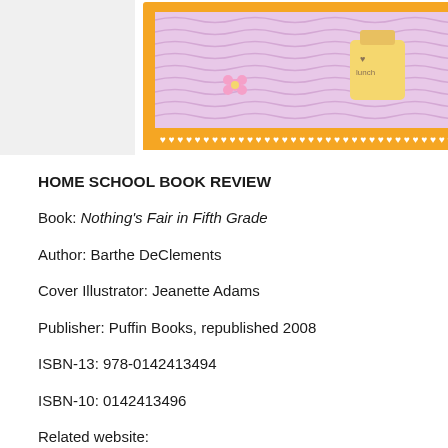[Figure (illustration): Book cover illustration showing a cartoon figure of a girl in a pink shirt and blue jeans with a white belt, holding a lunch bag labeled 'lunch', with a purple wavy background, orange border with heart/diamond pattern, and a small flower decoration.]
HOME SCHOOL BOOK REVIEW
Book: Nothing's Fair in Fifth Grade
Author: Barthe DeClements
Cover Illustrator: Jeanette Adams
Publisher: Puffin Books, republished 2008
ISBN-13: 978-0142413494
ISBN-10: 0142413496
Related website: